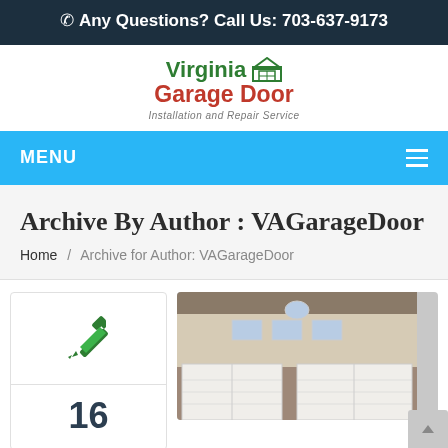☎ Any Questions? Call Us: 703-637-9173
[Figure (logo): Virginia Garage Door logo with house icon and text 'Installation and Repair Service']
MENU
Archive By Author : VAGarageDoor
Home / Archive for Author: VAGarageDoor
[Figure (illustration): Pencil edit icon in green]
16
[Figure (photo): House exterior showing large garage doors, two white carriage-style garage doors, brick and stucco facade]